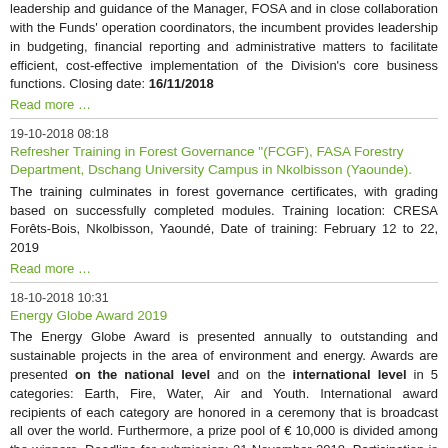leadership and guidance of the Manager, FOSA and in close collaboration with the Funds' operation coordinators, the incumbent provides leadership in budgeting, financial reporting and administrative matters to facilitate efficient, cost-effective implementation of the Division's core business functions. Closing date: 16/11/2018
Read more …
19-10-2018 08:18
Refresher Training in Forest Governance "(FCGF), FASA Forestry Department, Dschang University Campus in Nkolbisson (Yaounde).
The training culminates in forest governance certificates, with grading based on successfully completed modules. Training location: CRESA Forêts-Bois, Nkolbisson, Yaoundé, Date of training: February 12 to 22, 2019
Read more …
18-10-2018 10:31
Energy Globe Award 2019
The Energy Globe Award is presented annually to outstanding and sustainable projects in the area of environment and energy. Awards are presented on the national level and on the international level in 5 categories: Earth, Fire, Water, Air and Youth. International award recipients of each category are honored in a ceremony that is broadcast all over the world. Furthermore, a prize pool of € 10,000 is divided among the winners. Deadline for submission: 21 November 2018. Participation is for free!
Read more …
17-10-2018 08:39
WWF seeks a Consultant
The World Wide Fund for Nature seeks a Consultant to support the Ad hoc Committee in charge of the Finalization of the National Sustainable Palm Oil Strategy (NSPOS). Deadline for applications: 10 days upon publication of offer
Read more …